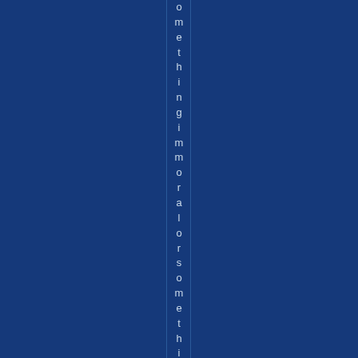[Figure (other): Dark navy blue background with a narrow vertical column of white/light-blue text reading 'something immoral or something illegal' displayed letter by letter vertically, running top to bottom through the center of the page.]